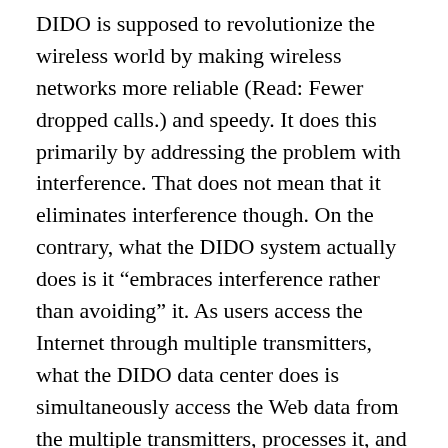DIDO is supposed to revolutionize the wireless world by making wireless networks more reliable (Read: Fewer dropped calls.) and speedy. It does this primarily by addressing the problem with interference. That does not mean that it eliminates interference though. On the contrary, what the DIDO system actually does is it “embraces interference rather than avoiding” it. As users access the Internet through multiple transmitters, what the DIDO data center does is simultaneously access the Web data from the multiple transmitters, processes it, and transforms it to unique signals that carries the data to invidiual users. Since DIDO relies on interference from multiple transmitters to create the unique signals,it means that the system would need to have a lot of transmitters deployed in order to give each user in the network the maximum data rate. The good thing though, is that if